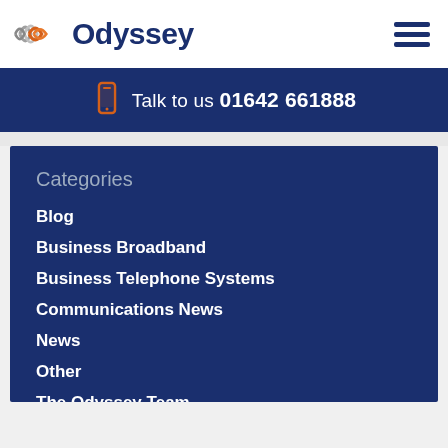[Figure (logo): Odyssey company logo with stylized wave/concentric arc icon in grey and orange, followed by 'Odyssey' in dark navy blue bold text]
[Figure (other): Hamburger menu icon with three dark navy horizontal lines]
Talk to us 01642 661888
Categories
Blog
Business Broadband
Business Telephone Systems
Communications News
News
Other
The Odyssey Team
Top 10 Posts
Uncategorised